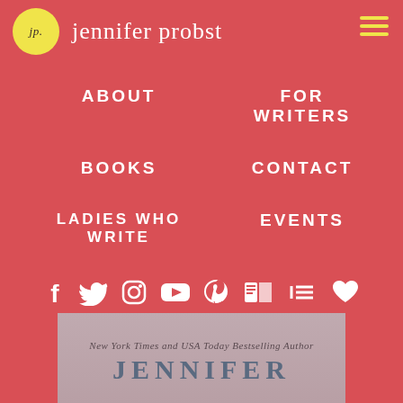jp. jennifer probst
ABOUT
FOR WRITERS
BOOKS
CONTACT
LADIES WHO WRITE
EVENTS
[Figure (infographic): Social media icons row: Facebook, Twitter, Instagram, YouTube, Pinterest, Goodreads, blog/feed, heart/favorites]
[Figure (photo): Bottom portion of a book cover with text: New York Times and USA Today Bestselling Author JENNIFER (cut off)]